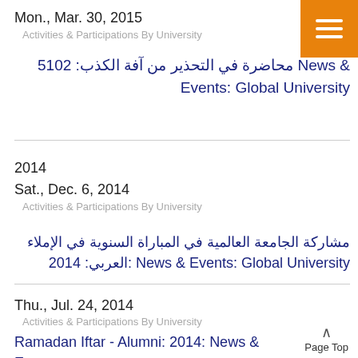Mon., Mar. 30, 2015
Activities & Participations By University
News & محاضرة في التحذير من آفة الكذب: 2015 Events: Global University
2014
Sat., Dec. 6, 2014
Activities & Participations By University
مشاركة الجامعة العالمية في المباراة السنوية في الإملاء العربي: News & Events: Global University 2014
Thu., Jul. 24, 2014
Activities & Participations By University
Ramadan Iftar - Alumni: 2014: News & Events: Global University